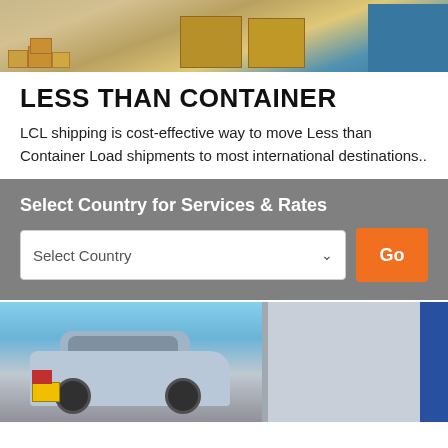[Figure (photo): Photo of cardboard boxes, wooden pallets, and a blue shipping container stacked together in a warehouse or logistics setting]
LESS THAN CONTAINER
LCL shipping is cost-effective way to move Less than Container Load shipments to most international destinations..
Select Country for Services & Rates
[Figure (screenshot): A country selection dropdown input field with 'Select Country' placeholder and a chevron arrow, alongside an orange 'Go' button]
[Figure (photo): Photo of a silver SUV car parked in front of an open shipping container, with a blue wall visible on the right side]